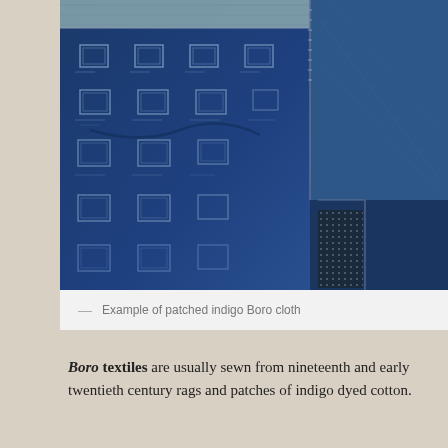[Figure (photo): Close-up photograph of patched indigo Boro cloth showing multiple layers of dark blue indigo-dyed cotton fabric with visible patches, stitching, and geometric repeat patterns on the woven textile.]
— Example of patched indigo Boro cloth
Boro textiles are usually sewn from nineteenth and early twentieth century rags and patches of indigo dyed cotton.